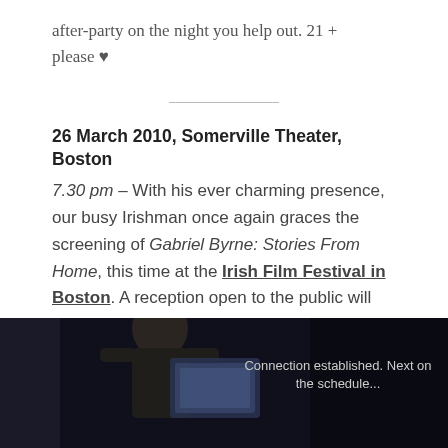after-party on the night you help out. 21 + please ♥
26 March 2010, Somerville Theater, Boston
7.30 pm – With his ever charming presence, our busy Irishman once again graces the screening of Gabriel Byrne: Stories From Home, this time at the Irish Film Festival in Boston. A reception open to the public will follow at Orleans, Davis Square at 9 pm.
[Figure (photo): Dark photo showing a person from behind with text overlay reading 'Connection established. Next on the schedule...']